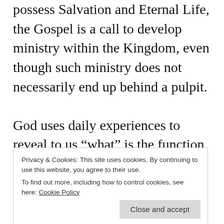possess Salvation and Eternal Life, the Gospel is a call to develop ministry within the Kingdom, even though such ministry does not necessarily end up behind a pulpit.

God uses daily experiences to reveal to us “what” is the function that we perform, or will perform, within the Kingdom of God on earth, that is, what is the call to the ministry that He gives us. But. it is not all experiences. it is some,
Privacy & Cookies: This site uses cookies. By continuing to use this website, you agree to their use.
To find out more, including how to control cookies, see here: Cookie Policy
It is not possible to build a ministry to God on